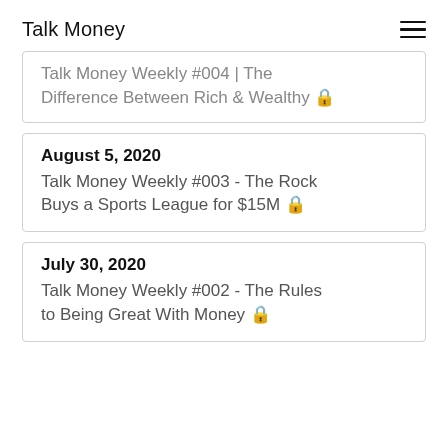Talk Money
Talk Money Weekly #004 | The Difference Between Rich & Wealthy 🔒
August 5, 2020
Talk Money Weekly #003 - The Rock Buys a Sports League for $15M 🔒
July 30, 2020
Talk Money Weekly #002 - The Rules to Being Great With Money 🔒